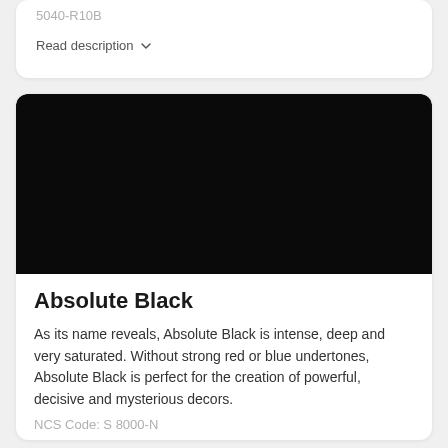5040-R10B
Read description
[Figure (illustration): A large dark/black rectangular color swatch with rounded top corners, representing the paint color Absolute Black.]
Absolute Black
As its name reveals, Absolute Black is intense, deep and very saturated. Without strong red or blue undertones, Absolute Black is perfect for the creation of powerful, decisive and mysterious decors.
NCS Code: S 8000-N
Read description